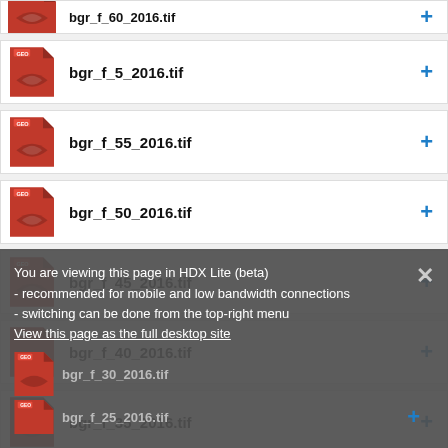bgr_f_5_2016.tif
bgr_f_55_2016.tif
bgr_f_50_2016.tif
bgr_f_45_2016.tif
bgr_f_40_2016.tif
bgr_f_35_2016.tif
You are viewing this page in HDX Lite (beta)
- recommended for mobile and low bandwidth connections
- switching can be done from the top-right menu
View this page as the full desktop site